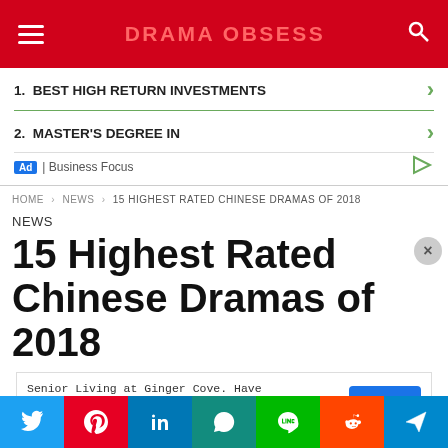DRAMA OBSESS
[Figure (screenshot): Advertisement block with two sponsored links: 1. BEST HIGH RETURN INVESTMENTS and 2. MASTER'S DEGREE IN, with Business Focus label]
HOME › NEWS › 15 HIGHEST RATED CHINESE DRAMAS OF 2018
NEWS
15 Highest Rated Chinese Dramas of 2018
[Figure (screenshot): Advertisement: Senior Living at Ginger Cove. Have the Freedom to Chart Your Own Course, Every Day. OPEN button]
[Figure (screenshot): Social sharing bar with Twitter, Pinterest, LinkedIn, WhatsApp, Line, Reddit, and send icons]